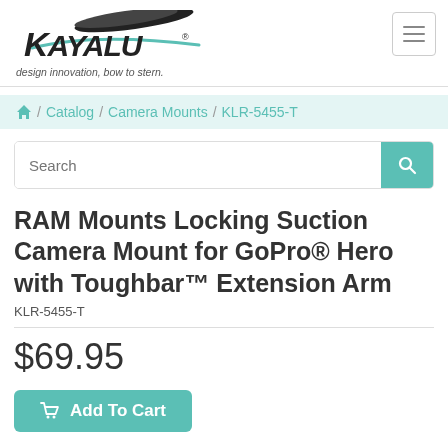[Figure (logo): Kayalu logo with kayak paddle graphic and tagline 'design innovation, bow to stern.']
⌂ / Catalog / Camera Mounts / KLR-5455-T
RAM Mounts Locking Suction Camera Mount for GoPro® Hero with Toughbar™ Extension Arm
KLR-5455-T
$69.95
Add To Cart